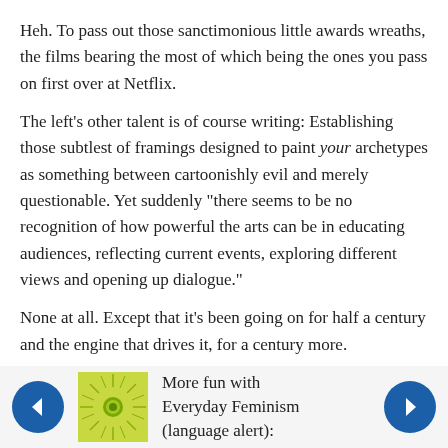Heh. To pass out those sanctimonious little awards wreaths, the films bearing the most of which being the ones you pass on first over at Netflix.
The left's other talent is of course writing: Establishing those subtlest of framings designed to paint your archetypes as something between cartoonishly evil and merely questionable. Yet suddenly "there seems to be no recognition of how powerful the arts can be in educating audiences, reflecting current events, exploring different views and opening up dialogue."
None at all. Except that it's been going on for half a century and the engine that drives it, for a century more.
Posted by: Ten | November 26, 2018 at 14:02
[Figure (illustration): Sun/starburst logo thumbnail for next article]
More fun with Everyday Feminism (language alert):